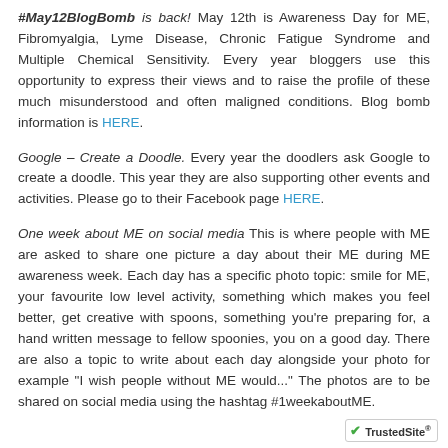#May12BlogBomb is back! May 12th is Awareness Day for ME, Fibromyalgia, Lyme Disease, Chronic Fatigue Syndrome and Multiple Chemical Sensitivity. Every year bloggers use this opportunity to express their views and to raise the profile of these much misunderstood and often maligned conditions. Blog bomb information is HERE.
Google – Create a Doodle. Every year the doodlers ask Google to create a doodle. This year they are also supporting other events and activities. Please go to their Facebook page HERE.
One week about ME on social media This is where people with ME are asked to share one picture a day about their ME during ME awareness week. Each day has a specific photo topic: smile for ME, your favourite low level activity, something which makes you feel better, get creative with spoons, something you're preparing for, a hand written message to fellow spoonies, you on a good day. There are also a topic to write about each day alongside your photo for example "I wish people without ME would..." The photos are to be shared on social media using the hashtag #1weekaboutME.